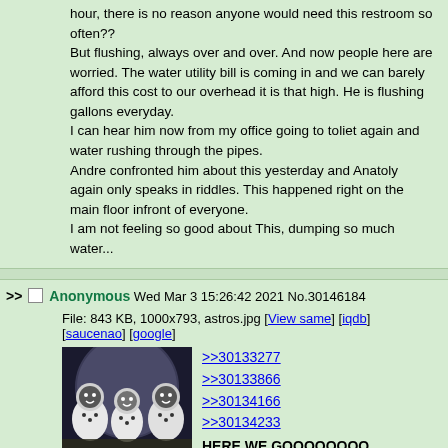hour, there is no reason anyone would need this restroom so often??
But flushing, always over and over. And now people here are worried. The water utility bill is coming in and we can barely afford this cost to our overhead it is that high. He is flushing gallons everyday.
I can hear him now from my office going to toliet again and water rushing through the pipes.
Andre confronted him about this yesterday and Anatoly again only speaks in riddles. This happened right on the main floor infront of everyone.
I am not feeling so good about This, dumping so much water...
Anonymous Wed Mar 3 15:26:42 2021 No.30146184
File: 843 KB, 1000x793, astros.jpg [View same] [iqdb] [saucenao] [google]
[Figure (photo): Photo of astronauts in space suits, appearing to have cartoon/meme faces overlaid, in front of a moon or planet backdrop]
>>30133277
>>30133866
>>30134166
>>30134233
HERE WE GOOOOOOOO